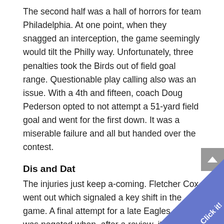The second half was a hall of horrors for team Philadelphia. At one point, when they snagged an interception, the game seemingly would tilt the Philly way. Unfortunately, three penalties took the Birds out of field goal range. Questionable play calling also was an issue. With a 4th and fifteen, coach Doug Pederson opted to not attempt a 51-yard field goal and went for the first down. It was a miserable failure and all but handed over the contest.
Dis and Dat
The injuries just keep a-coming. Fletcher Cox went out which signaled a key shift in the game. A final attempt for a late Eagles score was negated when, after a review, it was questionably ruled Hurts had fumbled.
The result translates into the Eagles being eliminated from playoff contention and ignites the rabid fan base into a plethora of questions concerning the direct future of the once-proud Philadelphia franchise.